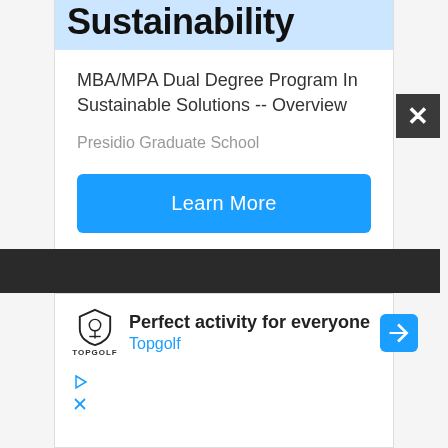Sustainability
MBA/MPA Dual Degree Program In Sustainable Solutions -- Overview
Presidio Graduate School
Learn More
[Figure (screenshot): Dark navigation bar with close (X) button on right side]
[Figure (infographic): Topgolf advertisement banner: Perfect activity for everyone, Topgolf logo with shield icon, navigation arrow icon, ad control icons]